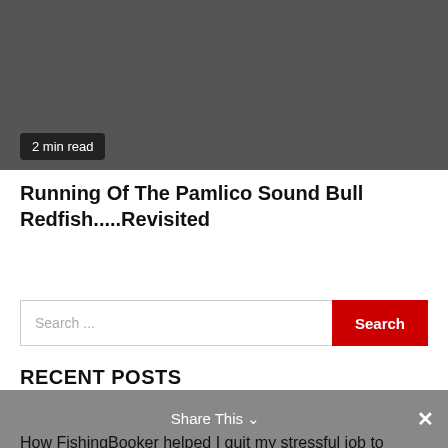[Figure (photo): Dark gray image placeholder at top of page]
2 min read
Running Of The Pamlico Sound Bull Redfish.....Revisited
Search ...
RECENT POSTS
Young Guns: Capt. Harry Garrecht
How FishingBooker helped I quit my stressful job to
Share This ✓  ✕